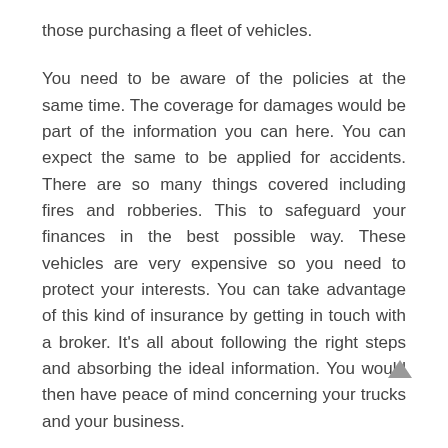those purchasing a fleet of vehicles.
You need to be aware of the policies at the same time. The coverage for damages would be part of the information you can here. You can expect the same to be applied for accidents. There are so many things covered including fires and robberies. This to safeguard your finances in the best possible way. These vehicles are very expensive so you need to protect your interests. You can take advantage of this kind of insurance by getting in touch with a broker. It's all about following the right steps and absorbing the ideal information. You would then have peace of mind concerning your trucks and your business.
It's not uncommon for people to want to own a trucking business. You have to be aware of the many insurance plans that can cover your needs. This would provide even extra coverage for your fleet of trucks. Your business would be protected because of this. It's also expected